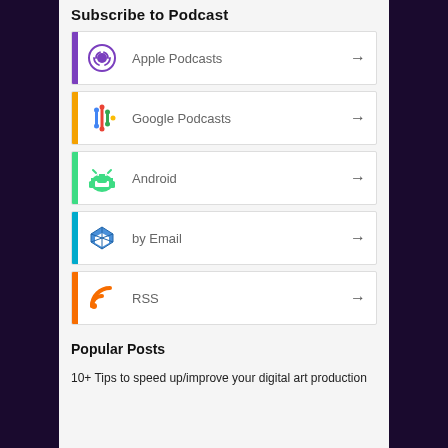Subscribe to Podcast
Apple Podcasts
Google Podcasts
Android
by Email
RSS
Popular Posts
10+ Tips to speed up/improve your digital art production